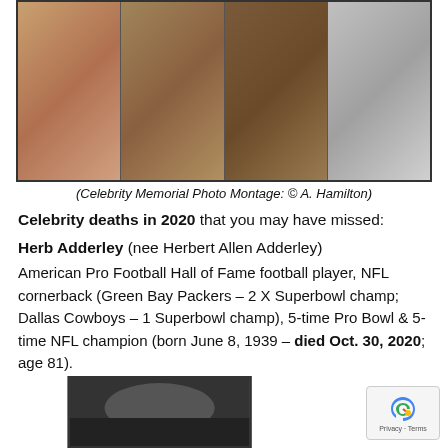[Figure (photo): Celebrity Memorial Photo Montage showing four celebrity portraits side by side]
(Celebrity Memorial Photo Montage: © A. Hamilton)
Celebrity deaths in 2020 that you may have missed:
Herb Adderley (nee Herbert Allen Adderley)
American Pro Football Hall of Fame football player, NFL cornerback (Green Bay Packers – 2 X Superbowl champ;  Dallas Cowboys – 1 Superbowl champ), 5-time Pro Bowl & 5-time NFL champion (born June 8, 1939 – died Oct. 30, 2020; age 81).
[Figure (photo): Black and white photo at bottom of page, partially visible]